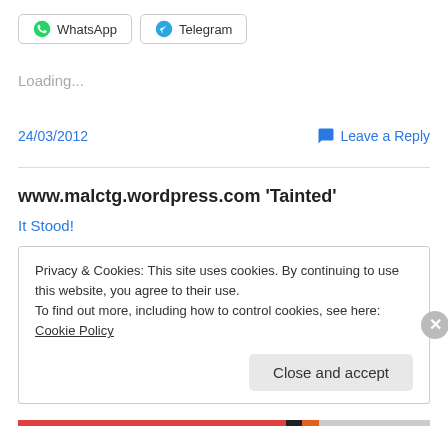[Figure (other): WhatsApp and Telegram share buttons]
Loading...
24/03/2012   Leave a Reply
www.malctg.wordpress.com 'Tainted'
It Stood!
Privacy & Cookies: This site uses cookies. By continuing to use this website, you agree to their use.
To find out more, including how to control cookies, see here: Cookie Policy
Close and accept